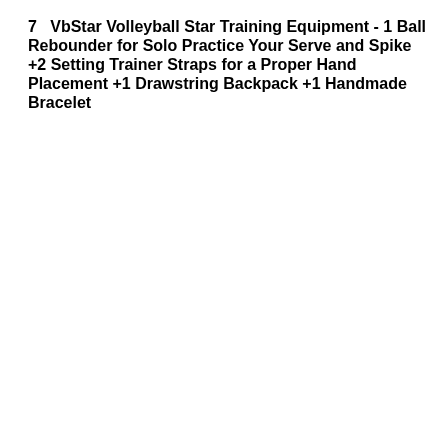7   VbStar Volleyball Star Training Equipment - 1 Ball Rebounder for Solo Practice Your Serve and Spike +2 Setting Trainer Straps for a Proper Hand Placement +1 Drawstring Backpack +1 Handmade Bracelet
[Figure (photo): Product card with number badge '7' in dark navy blue square, showing a black drawstring backpack with logo and a woman in blue volleyball uniform holding a volleyball trainer ball with one arm raised]